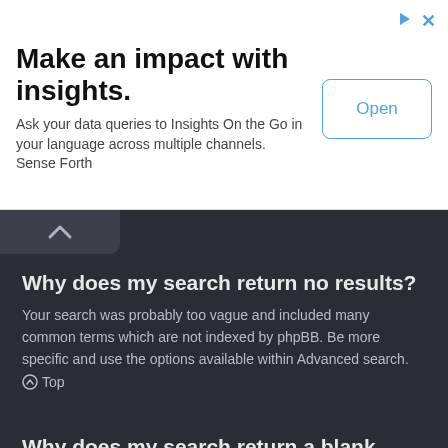[Figure (other): Advertisement banner: 'Make an impact with insights.' with Open button]
Make an impact with insights.
Ask your data queries to Insights On the Go in your language across multiple channels. Sense Forth
Why does my search return no results?
Your search was probably too vague and included many common terms which are not indexed by phpBB. Be more specific and use the options available within Advanced search.
⊙ Top
Why does my search return a blank page!?
Your search returned too many results for the webserver to handle. Use “Advanced search” and be more specific in the terms used and forums that are to be searched.
⊙ Top
How do I search for members?
Visit to the “Members” page and click the “Find a member” link